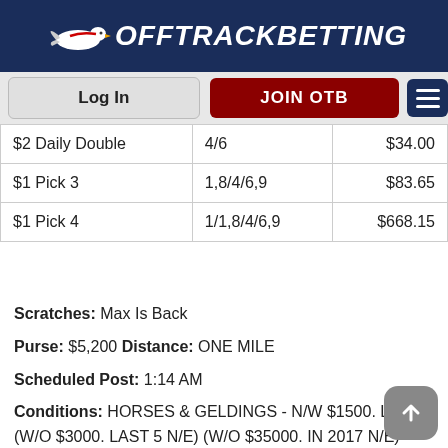OffTrackBetting
| Bet Type | Combination | Payout |
| --- | --- | --- |
| $2 Daily Double | 4/6 | $34.00 |
| $1 Pick 3 | 1,8/4/6,9 | $83.65 |
| $1 Pick 4 | 1/1,8/4/6,9 | $668.15 |
Scratches: Max Is Back
Purse: $5,200 Distance: ONE MILE
Scheduled Post: 1:14 AM
Conditions: HORSES & GELDINGS - N/W $1500. LAST 3 (W/O $3000. LAST 5 N/E) (W/O $35000. IN 2017 N/E)
Also Ran: Comeonandgetsome, Regal Ray, Clever Thing, Flames Cammi Boy, False Advertising